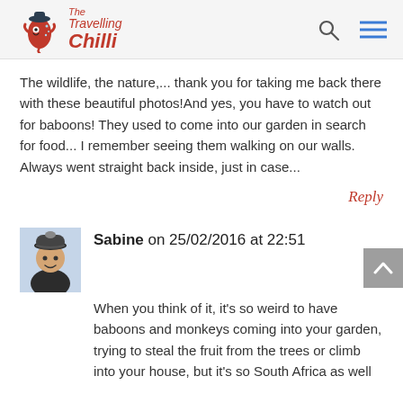The Travelling Chilli
The wildlife, the nature,... thank you for taking me back there with these beautiful photos!And yes, you have to watch out for baboons! They used to come into our garden in search for food... I remember seeing them walking on our walls. Always went straight back inside, just in case...
Reply
Sabine on 25/02/2016 at 22:51
When you think of it, it's so weird to have baboons and monkeys coming into your garden, trying to steal the fruit from the trees or climb into your house, but it's so South Africa as well